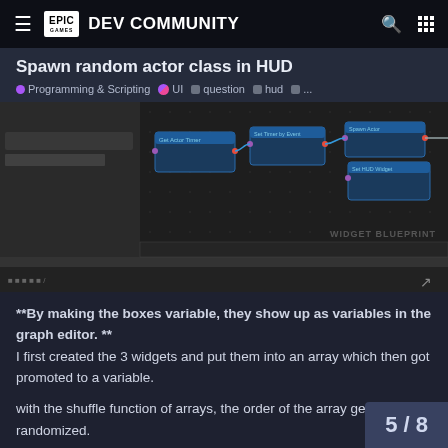Epic Games DEV COMMUNITY
Spawn random actor class in HUD
● Programming & Scripting  ●● UI  ■ question  ■ hud  ■ ...
[Figure (screenshot): Widget Blueprint graph editor screenshot showing nodes connected with wires, including a red arrow annotation pointing to a specific node. Text 'WIDGET BLUEPRINT' visible in lower right.]
**By making the boxes variable, they show up as variables in the graph editor. **
I first created the 3 widgets and put them into an array which then got promoted to a variable.

with the shuffle function of arrays, the order of the array gets randomized.

i created an Integer variable called
5 / 8